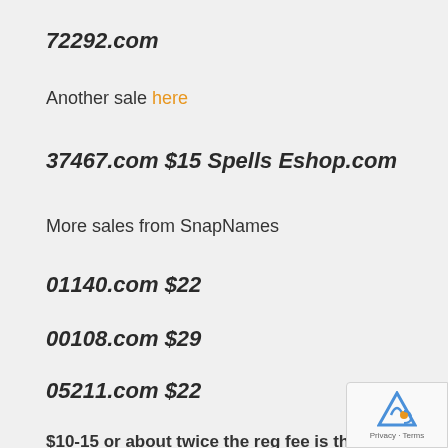72292.com
Another sale here
37467.com $15 Spells Eshop.com
More sales from SnapNames
01140.com $22
00108.com $29
05211.com $22
$10-15 or about twice the reg fee is the minimum anyone would sell NNNNN.com's. But